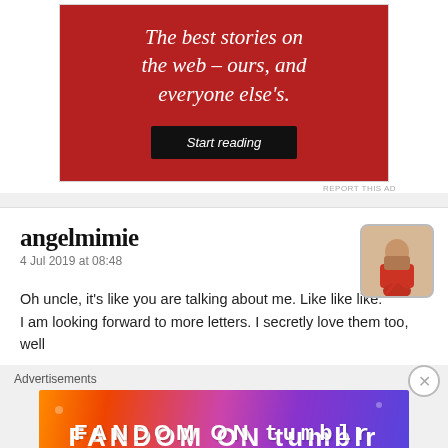[Figure (screenshot): Red advertisement banner with white italic text reading 'The best stories on the web – ours, and everyone else's.' with a black 'Start reading' button]
REPORT THIS AD
angelmimie
4 Jul 2019 at 08:48
[Figure (photo): Small avatar thumbnail showing a person in red dress outdoors]
Oh uncle, it's like you are talking about me. Like like like.
I am looking forward to more letters. I secretly love them too, well
Advertisements
[Figure (screenshot): FANDOM ON tumblr colorful advertisement banner with gradient orange to purple background]